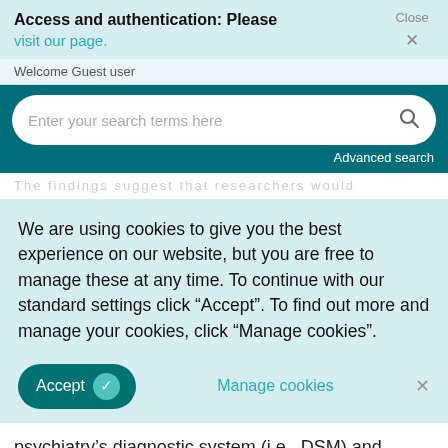Access and authentication: Please visit our page.   Close ×
Welcome Guest user
[Figure (screenshot): Search bar with placeholder text 'Enter your search terms here' and a magnifying glass icon, on a teal background with 'Advanced search' link]
We are using cookies to give you the best experience on our website, but you are free to manage these at any time. To continue with our standard settings click "Accept". To find out more and manage your cookies, click "Manage cookies".
Accept ✓   Manage cookies   ×
psychiatry's diagnostic system (i.e., DSM) and French child psychiatrists' diagnostic system